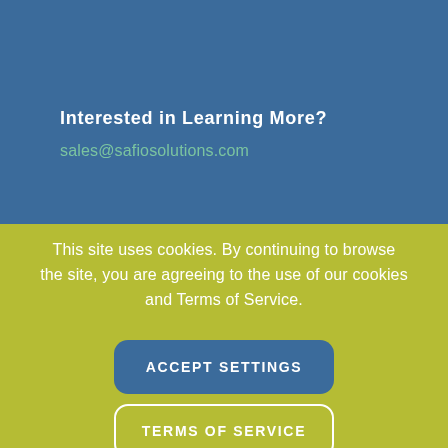Interested in Learning More?
sales@safiosolutions.com
This site uses cookies. By continuing to browse the site, you are agreeing to the use of our cookies and Terms of Service.
ACCEPT SETTINGS
TERMS OF SERVICE